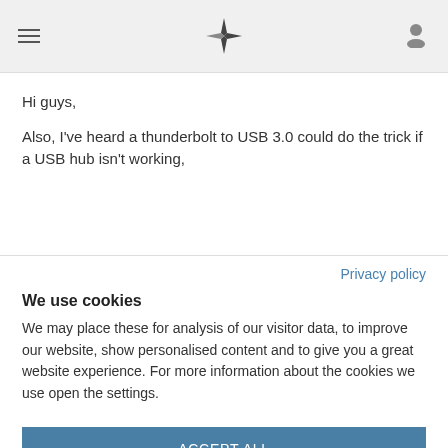Navigation header with hamburger menu, star/compass logo, and user icon
Hi guys,
Also, I've heard a thunderbolt to USB 3.0 could do the trick if a USB hub isn't working,
Privacy policy
We use cookies
We may place these for analysis of our visitor data, to improve our website, show personalised content and to give you a great website experience. For more information about the cookies we use open the settings.
ACCEPT ALL
DENY ALL
MANAGE SETTINGS